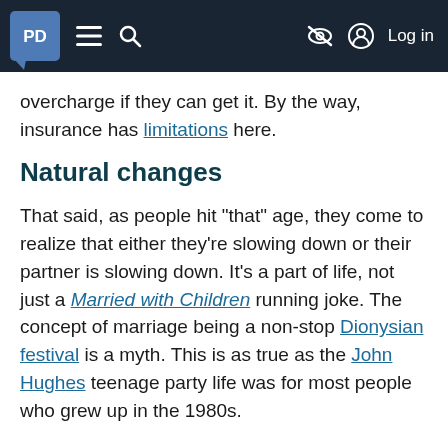PD [logo] ≡ 🔍 [no-sign] [user] Log in
overcharge if they can get it. By the way, insurance has limitations here.
Natural changes
That said, as people hit "that" age, they come to realize that either they're slowing down or their partner is slowing down. It's a part of life, not just a Married with Children running joke. The concept of marriage being a non-stop Dionysian festival is a myth. This is as true as the John Hughes teenage party life was for most people who grew up in the 1980s.